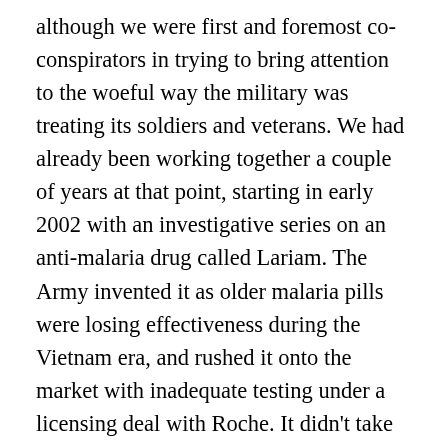although we were first and foremost co-conspirators in trying to bring attention to the woeful way the military was treating its soldiers and veterans. We had already been working together a couple of years at that point, starting in early 2002 with an investigative series on an anti-malaria drug called Lariam. The Army invented it as older malaria pills were losing effectiveness during the Vietnam era, and rushed it onto the market with inadequate testing under a licensing deal with Roche. It didn't take long for the pharmaceutical version of “sin in haste, repent at leisure” effect to appear -- by the late 1980s, severe mental problems that included suicide and aggressive behavior were showing up in the military and also in the general traveling population, which was being